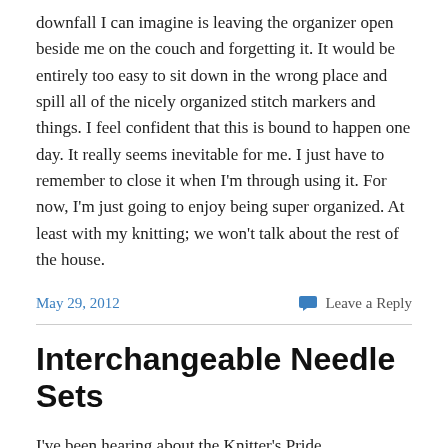downfall I can imagine is leaving the organizer open beside me on the couch and forgetting it. It would be entirely too easy to sit down in the wrong place and spill all of the nicely organized stitch markers and things. I feel confident that this is bound to happen one day. It really seems inevitable for me. I just have to remember to close it when I'm through using it. For now, I'm just going to enjoy being super organized. At least with my knitting; we won't talk about the rest of the house.
May 29, 2012
Leave a Reply
Interchangeable Needle Sets
I've been hearing about the Knitter's Pride interchangeable needles for a few months now. I've also